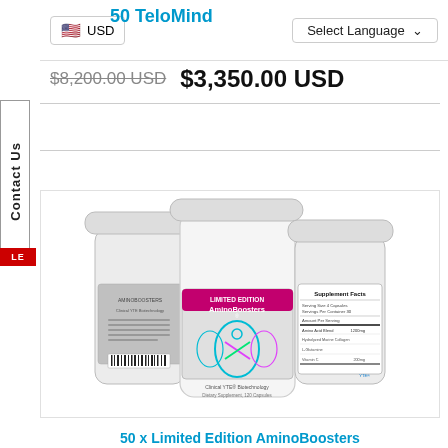50 TeloMind
$8,200.00 USD  $3,350.00 USD
[Figure (photo): Three white supplement bottles labeled 'LIMITED EDITION AminoBoosters' by Clinical YTE Biotechnology. The center bottle faces front showing a colorful figure logo; the left bottle shows the back label with text; the right bottle shows the Supplement Facts panel.]
50 x Limited Edition AminoBoosters